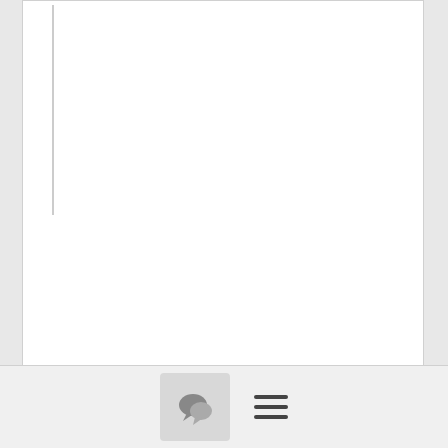--
Michael Hrivnak

Senior Principal Software Engineer, RHCE
Red Hat
[Figure (illustration): Blue file/document icon with a question mark, representing an unknown or missing attachment]
[Figure (screenshot): Bottom toolbar with a chat/comment bubble icon button and a hamburger menu icon]